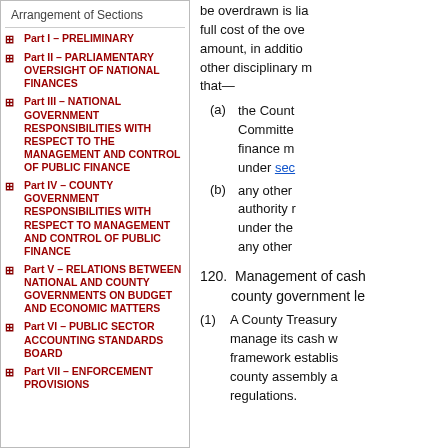Arrangement of Sections
Part I – PRELIMINARY
Part II – PARLIAMENTARY OVERSIGHT OF NATIONAL FINANCES
Part III – NATIONAL GOVERNMENT RESPONSIBILITIES WITH RESPECT TO THE MANAGEMENT AND CONTROL OF PUBLIC FINANCE
Part IV – COUNTY GOVERNMENT RESPONSIBILITIES WITH RESPECT TO MANAGEMENT AND CONTROL OF PUBLIC FINANCE
Part V – RELATIONS BETWEEN NATIONAL AND COUNTY GOVERNMENTS ON BUDGET AND ECONOMIC MATTERS
Part VI – PUBLIC SECTOR ACCOUNTING STANDARDS BOARD
Part VII – ENFORCEMENT PROVISIONS
be overdrawn is liable for the full cost of the overdrawn amount, in addition to any other disciplinary measures that—
(a) the County Treasury Committee on public finance matters as required under section ...
(b) any other prescribed authority may impose under the Constitution or any other written law.
120. Management of cash at county government level
(1) A County Treasury shall manage its cash within a framework established by the county assembly and regulations.